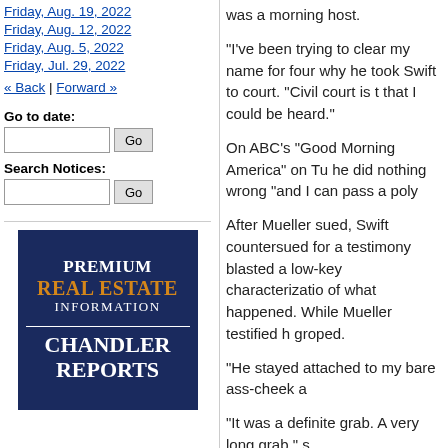Friday, Aug. 19, 2022
Friday, Aug. 12, 2022
Friday, Aug. 5, 2022
Friday, Jul. 29, 2022
« Back | Forward »
Go to date:
Search Notices:
[Figure (logo): Premium Real Estate Information - Chandler Reports advertisement logo on dark navy background]
was a morning host.
"I've been trying to clear my name for four why he took Swift to court. "Civil court is t that I could be heard."
On ABC's "Good Morning America" on Tu he did nothing wrong "and I can pass a poly
After Mueller sued, Swift countersued for a testimony blasted a low-key characterizatio of what happened. While Mueller testified h groped.
"He stayed attached to my bare ass-cheek a
"It was a definite grab. A very long grab," s
Mueller emphatically denied reaching unde her inappropriately, insisting he touched on of her skirt as they awkwardly posed for the
That photo was virtually the only evidence
In the image shown to jurors during openin Mueller's hand is behind Swift, just below h